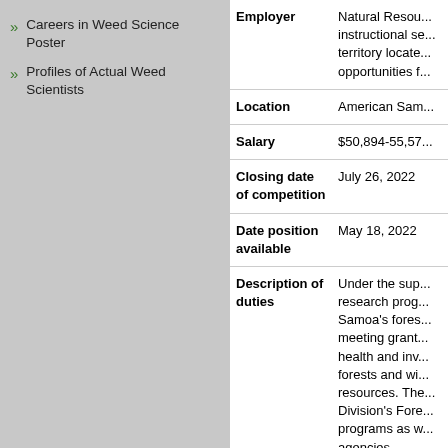Careers in Weed Science Poster
Profiles of Actual Weed Scientists
| Field | Value |
| --- | --- |
| Employer | Natural Resources... instructional se... territory locate... opportunities f... |
| Location | American Sam... |
| Salary | $50,894-55,57... |
| Closing date of competition | July 26, 2022 |
| Date position available | May 18, 2022 |
| Description of duties | Under the sup... research prog... Samoa's fores... meeting grant... health and inv... forests and wi... resources. The... Division's Fore... programs as w... agencies.

Duties: |